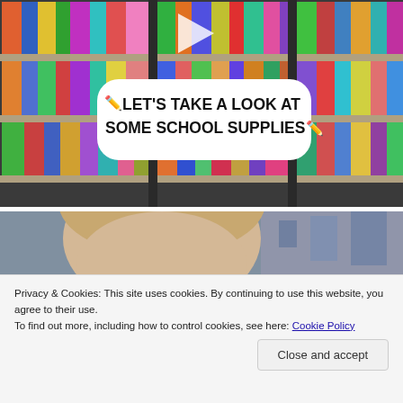[Figure (screenshot): Video thumbnail showing colorful binders/folders on library shelves with a play button icon and overlaid text bubble reading '✏️ LET'S TAKE A LOOK AT SOME SCHOOL SUPPLIES ✏️']
[Figure (photo): Partial photo showing a person's head (blonde hair) with a building in the background]
Privacy & Cookies: This site uses cookies. By continuing to use this website, you agree to their use.
To find out more, including how to control cookies, see here: Cookie Policy
Close and accept